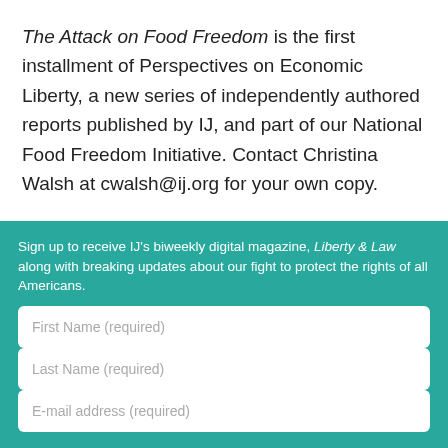The Attack on Food Freedom is the first installment of Perspectives on Economic Liberty, a new series of independently authored reports published by IJ, and part of our National Food Freedom Initiative. Contact Christina Walsh at cwalsh@ij.org for your own copy.
Sign up to receive IJ's biweekly digital magazine, Liberty & Law along with breaking updates about our fight to protect the rights of all Americans.
First Name (required)
Last Name (required)
E-mail address (required)